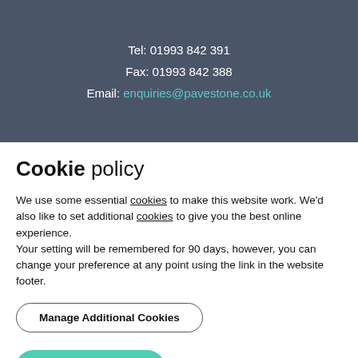Tel: 01993 842 391
Fax: 01993 842 388
Email: enquiries@pavestone.co.uk
Cookie policy
We use some essential cookies to make this website work. We'd also like to set additional cookies to give you the best online experience.
Your setting will be remembered for 90 days, however, you can change your preference at any point using the link in the website footer.
Manage Additional Cookies
Accept All Cookies